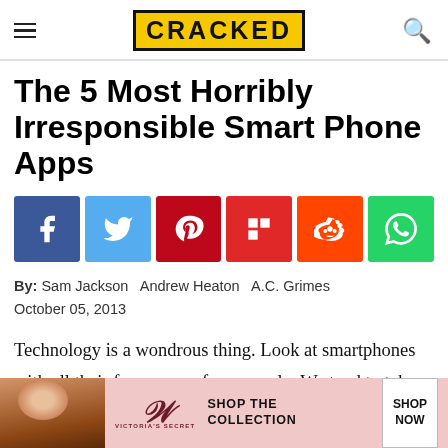CRACKED
The 5 Most Horribly Irresponsible Smart Phone Apps
[Figure (infographic): Social share buttons: Facebook (dark blue), Twitter (light blue), Pinterest (red), Flipboard (red), Reddit (orange), WhatsApp (green)]
By: Sam Jackson  Andrew Heaton  A.C. Grimes
October 05, 2013
Technology is a wondrous thing. Look at smartphones with all their fancy apps, for example: We tend to take
[Figure (photo): Victoria's Secret advertisement banner with a woman model on the left, VS logo in center, 'SHOP THE COLLECTION' text, and 'SHOP NOW' button on the right]